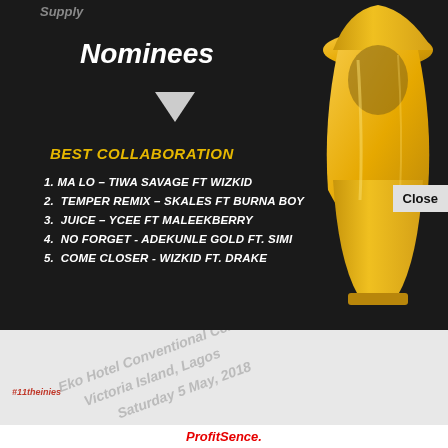Supply
Nominees
BEST COLLABORATION
1. MA LO – TIWA SAVAGE FT WIZKID
2. TEMPER REMIX – SKALES FT BURNA BOY
3. JUICE – YCEE FT MALEEKBERRY
4. NO FORGET - ADEKUNLE GOLD FT. SIMI
5. COME CLOSER - WIZKID FT. DRAKE
[Figure (illustration): Gold award trophy statue on the right side of the dark panel]
Close
Eko Hotel Conventional Centre
Victoria Island, Lagos
Saturday 5 May, 2018
ProfitSence.